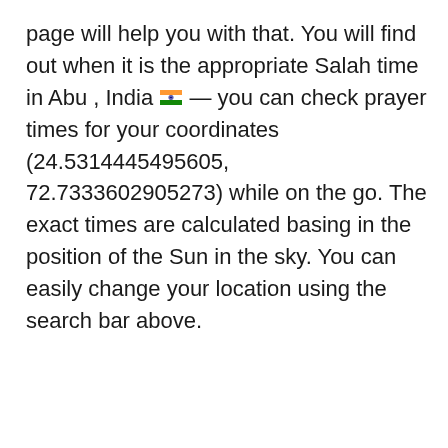page will help you with that. You will find out when it is the appropriate Salah time in Abu , India 🇮🇳 — you can check prayer times for your coordinates (24.5314445495605, 72.7333602905273) while on the go. The exact times are calculated basing in the position of the Sun in the sky. You can easily change your location using the search bar above.